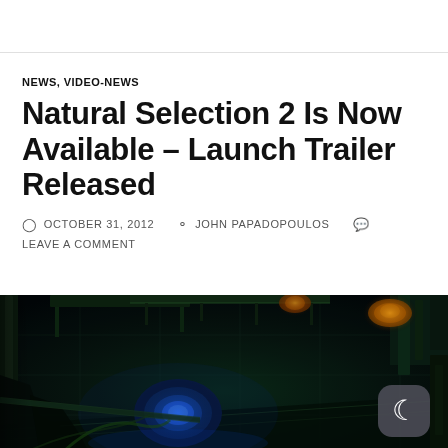NEWS, VIDEO-NEWS
Natural Selection 2 Is Now Available – Launch Trailer Released
OCTOBER 31, 2012   JOHN PAPADOPOULOS   LEAVE A COMMENT
[Figure (screenshot): Dark sci-fi game screenshot from Natural Selection 2 showing an alien-infested industrial environment with blue glowing elements and organic alien structures, with a dark mode toggle button overlay in the bottom right corner.]